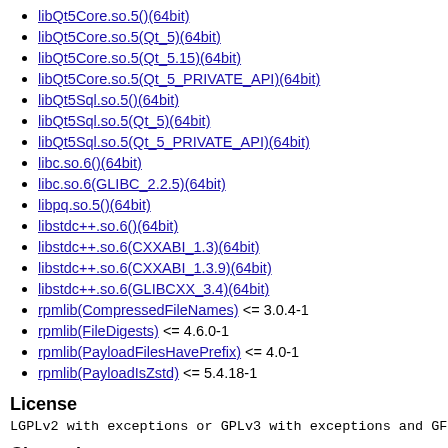libQt5Core.so.5()(64bit)
libQt5Core.so.5(Qt_5)(64bit)
libQt5Core.so.5(Qt_5.15)(64bit)
libQt5Core.so.5(Qt_5_PRIVATE_API)(64bit)
libQt5Sql.so.5()(64bit)
libQt5Sql.so.5(Qt_5)(64bit)
libQt5Sql.so.5(Qt_5_PRIVATE_API)(64bit)
libc.so.6()(64bit)
libc.so.6(GLIBC_2.2.5)(64bit)
libpq.so.5()(64bit)
libstdc++.so.6()(64bit)
libstdc++.so.6(CXXABI_1.3)(64bit)
libstdc++.so.6(CXXABI_1.3.9)(64bit)
libstdc++.so.6(GLIBCXX_3.4)(64bit)
rpmlib(CompressedFileNames) <= 3.0.4-1
rpmlib(FileDigests) <= 4.6.0-1
rpmlib(PayloadFilesHavePrefix) <= 4.0-1
rpmlib(PayloadIsZstd) <= 5.4.18-1
License
LGPLv2 with exceptions or GPLv3 with exceptions and GFDL
Changelog